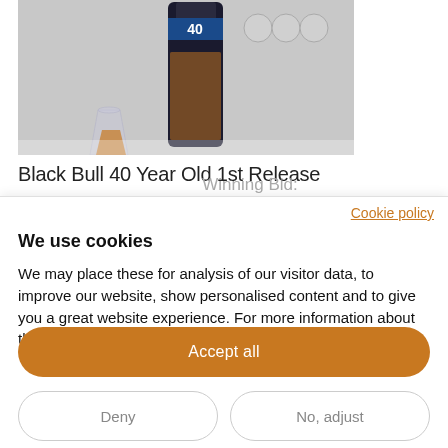[Figure (photo): Product photo of Black Bull 40 Year Old 1st Release whisky bottle with a glass of whisky, partially visible at the top of the page. Dark background with award medal badges visible on the bottle label.]
Black Bull 40 Year Old 1st Release
Winning Bid:
Cookie policy
We use cookies
We may place these for analysis of our visitor data, to improve our website, show personalised content and to give you a great website experience. For more information about the cookies we use open the settings.
Accept all
Deny
No, adjust